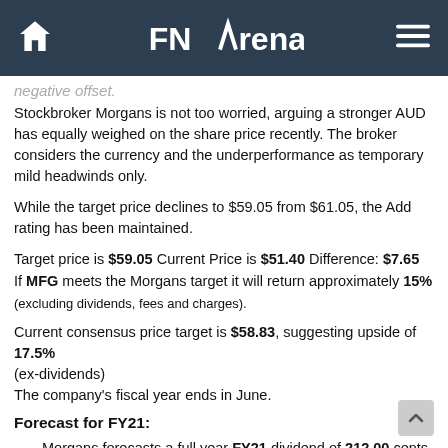FNArena
negative offset.
Stockbroker Morgans is not too worried, arguing a stronger AUD has equally weighed on the share price recently. The broker considers the currency and the underperformance as temporary mild headwinds only.
While the target price declines to $59.05 from $61.05, the Add rating has been maintained.
Target price is $59.05 Current Price is $51.40 Difference: $7.65
If MFG meets the Morgans target it will return approximately 15%
(excluding dividends, fees and charges).
Current consensus price target is $58.83, suggesting upside of 17.5%
(ex-dividends)
The company's fiscal year ends in June.
Forecast for FY21:
Morgans forecasts a full year FY21 dividend of 212.00 cents and EPS of 231.00 cents.
At the last closing share price the estimated dividend yield is 4.12%.
At the last closing share price the stock's estimated Price to